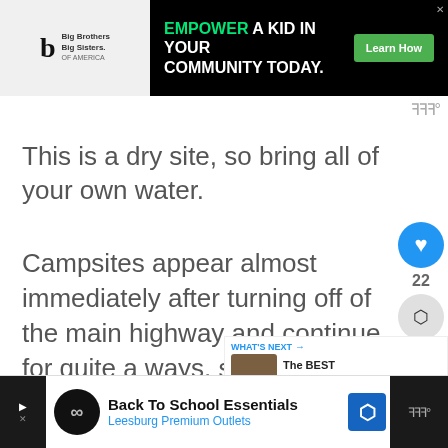[Figure (other): Top advertisement banner: Big Brothers Big Sisters logo on left, black background ad on right with text 'EMPOWER A KID IN YOUR COMMUNITY TODAY.' with green 'Learn How' button]
This is a dry site, so bring all of your own water.
Campsites appear almost immediately after turning off of the main highway and continue for quite a ways, so you're almost assured of finding something that will work here.
[Figure (other): What's Next panel with thumbnail image and text 'The BEST Dispersed...']
[Figure (other): Bottom advertisement: Back To School Essentials - Leesburg Premium Outlets]